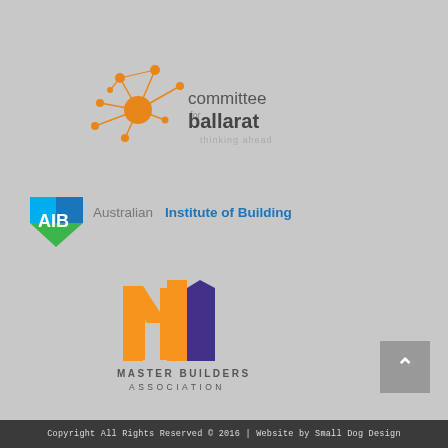[Figure (logo): Committee for Ballarat logo — orange dot network graphic with text 'committee for ballarat thinking ahead']
[Figure (logo): AIB Australian Institute of Building logo — blue/green diamond shape with AIB text and full name]
[Figure (logo): Master Builders Association logo — orange and purple stylized M building shapes with text MASTER BUILDERS ASSOCIATION]
Copyright All Rights Reserved © 2016 | Website by Small Dog Design